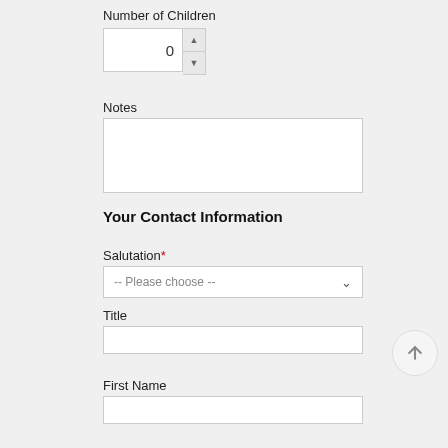Number of Children
[Figure (screenshot): A numeric spinner input showing the value 0, with up and down arrow buttons on the right side.]
Notes
[Figure (screenshot): An empty multi-line text area input box for Notes.]
Your Contact Information
Salutation*
[Figure (screenshot): A dropdown select input with placeholder text '-- Please choose --' and a chevron down arrow on the right.]
Title
[Figure (screenshot): An empty single-line text input for Title.]
First Name
[Figure (screenshot): An empty single-line text input for First Name.]